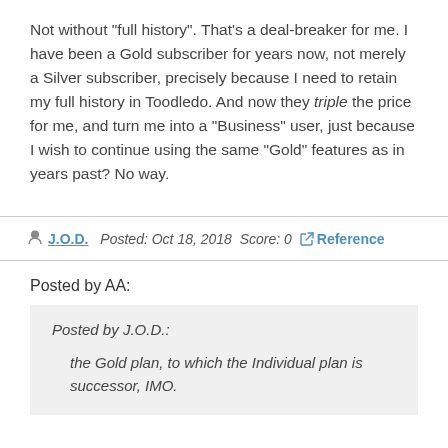Not without "full history". That's a deal-breaker for me. I have been a Gold subscriber for years now, not merely a Silver subscriber, precisely because I need to retain my full history in Toodledo. And now they triple the price for me, and turn me into a "Business" user, just because I wish to continue using the same "Gold" features as in years past? No way.
J.O.D.  Posted: Oct 18, 2018  Score: 0  Reference
Posted by AA:
Posted by J.O.D.:
the Gold plan, to which the Individual plan is successor, IMO.